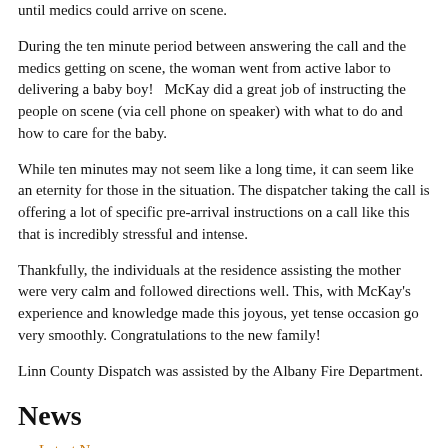until medics could arrive on scene.
During the ten minute period between answering the call and the medics getting on scene, the woman went from active labor to delivering a baby boy!   McKay did a great job of instructing the people on scene (via cell phone on speaker) with what to do and how to care for the baby.
While ten minutes may not seem like a long time, it can seem like an eternity for those in the situation. The dispatcher taking the call is offering a lot of specific pre-arrival instructions on a call like this that is incredibly stressful and intense.
Thankfully, the individuals at the residence assisting the mother were very calm and followed directions well. This, with McKay's experience and knowledge made this joyous, yet tense occasion go very smoothly. Congratulations to the new family!
Linn County Dispatch was assisted by the Albany Fire Department.
News
→ Latest News